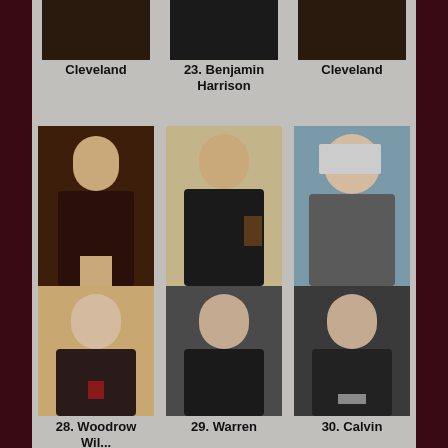[Figure (photo): Top partial row showing portraits of Cleveland (left), 23. Benjamin Harrison (center), and Cleveland (right) — partially cropped at top]
Cleveland
23. Benjamin Harrison
Cleveland
[Figure (photo): Middle row showing portraits of 25. William McKinley, 26. Theodore Roosevelt, and 27. William H Taft]
25. William McKinley
26. Theodore Roosevelt
27. William H Taft
[Figure (photo): Bottom row showing portraits of 28. Woodrow Wilson (partial), 29. Warren (partial), and 30. Calvin (partial) — cut off at bottom]
28. Woodrow Wilson
29. Warren
30. Calvin